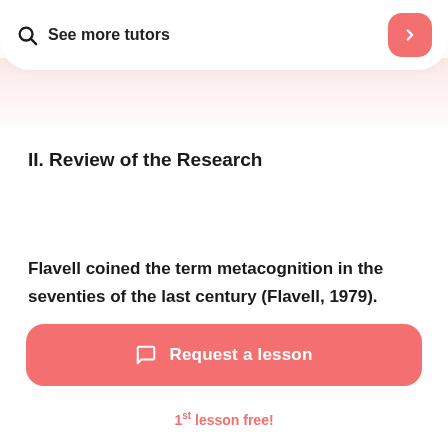See more tutors
II. Review of the Research
Flavell coined the term metacognition in the seventies of the last century (Flavell, 1979).
Request a lesson
1st lesson free!